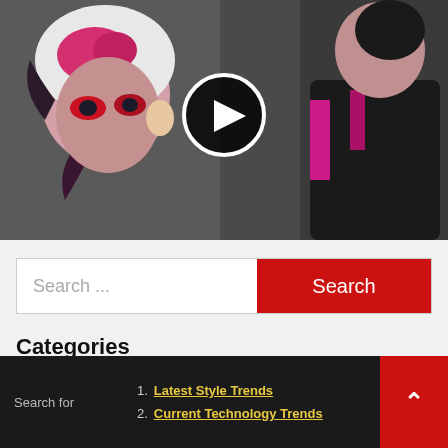[Figure (photo): Video thumbnail showing two cosplay figures with pink/magenta costumes and dramatic makeup against a dark background. A play button circle is centered over the image.]
[Figure (screenshot): Search bar with placeholder text 'Search ...' on the left and a red 'Search' button on the right.]
Categories
[Figure (screenshot): Dropdown select box with 'Select Category' and a down-arrow chevron.]
Search for
1. Latest Style Trends
2. Current Technology Trends